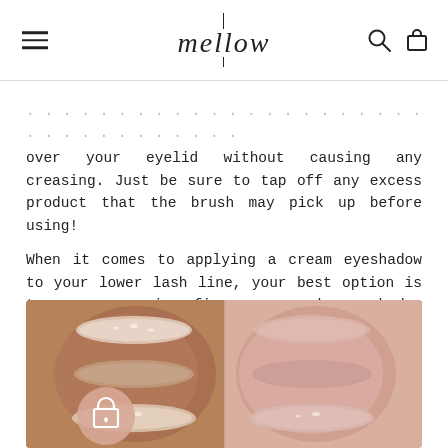mellow
over your eyelid without causing any creasing. Just be sure to tap off any excess product that the brush may pick up before using!

When it comes to applying a cream eyeshadow to your lower lash line, your best option is to use your ring finger or a dense shadow brush to gently apply the product for a more dramatic finish to your look.
[Figure (photo): Cosmetic eyeshadow swatches shown on two arms: left arm has darker skin tone with shimmery champagne/pearl swatches, right arm has lighter skin tone with rosy pink swatches. A pink shopping bag icon appears in the lower left of the image.]